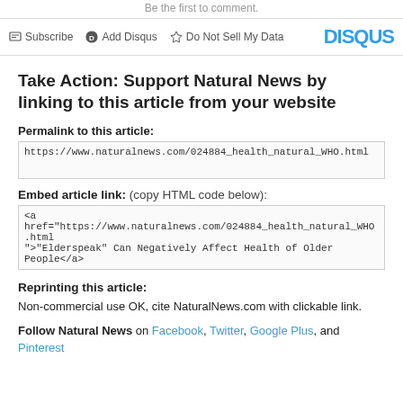Be the first to comment.
Subscribe | Add Disqus | Do Not Sell My Data | DISQUS
Take Action: Support Natural News by linking to this article from your website
Permalink to this article:
https://www.naturalnews.com/024884_health_natural_WHO.html
Embed article link: (copy HTML code below):
<a href="https://www.naturalnews.com/024884_health_natural_WHO.html">"Elderspeak" Can Negatively Affect Health of Older People</a>
Reprinting this article:
Non-commercial use OK, cite NaturalNews.com with clickable link.
Follow Natural News on Facebook, Twitter, Google Plus, and Pinterest